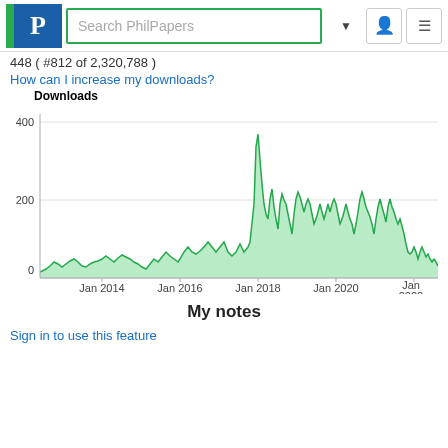Search PhilPapers
448 ( #812 of 2,320,788 )
How can I increase my downloads?
[Figure (area-chart): Downloads]
My notes
Sign in to use this feature